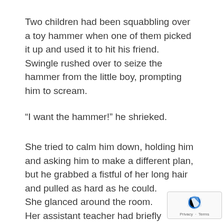Two children had been squabbling over a toy hammer when one of them picked it up and used it to hit his friend. Swingle rushed over to seize the hammer from the little boy, prompting him to scream.
“I want the hammer!” he shrieked.
She tried to calm him down, holding him and asking him to make a different plan, but he grabbed a fistful of her long hair and pulled as hard as he could.
She glanced around the room. Her assistant teacher had briefly left with another child and she needed backup immediately. She picked